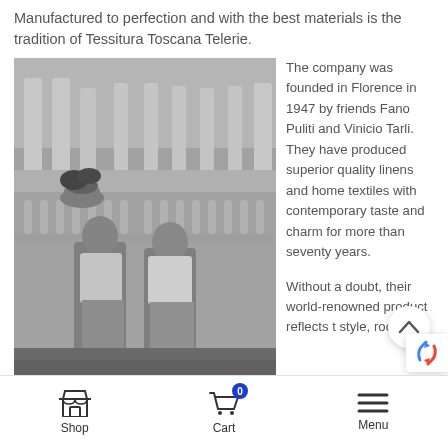Manufactured to perfection and with the best materials is the tradition of Tessitura Toscana Telerie.
[Figure (photo): Black and white photograph of two men standing together in front of a classical architectural backdrop with columns and balustrade, circa 1947.]
The company was founded in Florence in 1947 by friends Fano Puliti and Vinicio Tarli. They have produced superior quality linens and home textiles with contemporary taste and charm for more than seventy years.
Without a doubt, their world-renowned product reflects t style, roots and
Shop  Cart  Menu